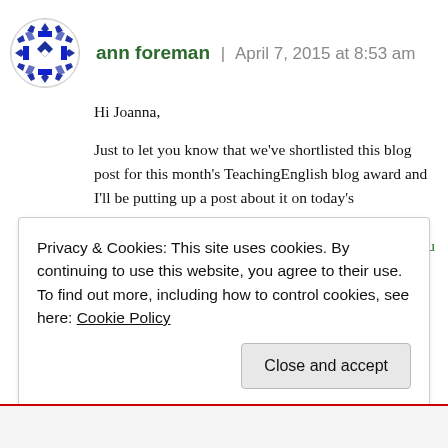[Figure (illustration): Circular avatar with blue and white geometric/snowflake quilt pattern design]
ann foreman | April 7, 2015 at 8:53 am
Hi Joanna,

Just to let you know that we've shortlisted this blog post for this month's TeachingEnglish blog award and I'll be putting up a post about it on today's TeachingEnglish Facebook page http://www.facebook.com/TeachingEnglish.BritishCou if you'd like to check there for likes and comments.

Best,
Ann
Privacy & Cookies: This site uses cookies. By continuing to use this website, you agree to their use.
To find out more, including how to control cookies, see here: Cookie Policy